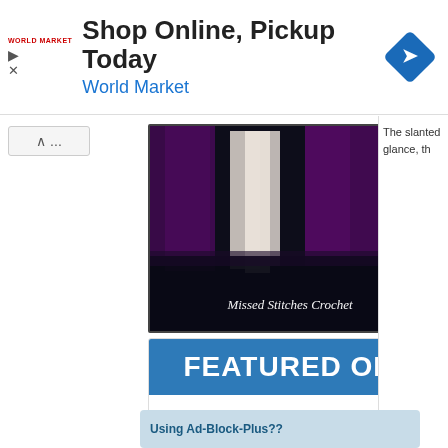[Figure (screenshot): World Market advertisement banner: 'Shop Online, Pickup Today' with World Market logo, play and close icons, and a blue diamond navigation icon]
[Figure (photo): Photo of purple and white crochet fringe on a dark background with text overlay 'Missed Stitches Crochet']
[Figure (other): Featured On AllFreeCrochet banner with blue header saying 'FEATURED ON' and AllFreeCrochet logo below]
The slanted glance, th
Using Ad-Block-Plus??